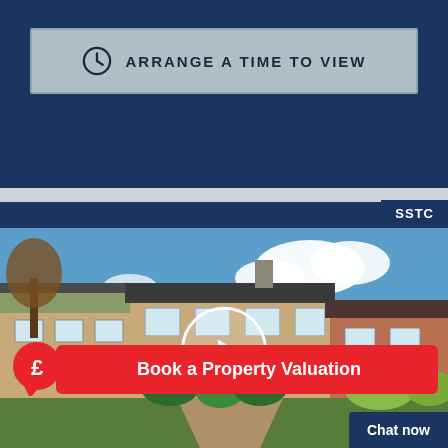[Figure (other): Button with clock icon: ARRANGE A TIME TO VIEW on grey background]
[Figure (photo): Exterior photograph of a semi-detached brick house with gardens, blue sky with clouds, with a video play button overlay, SSTC badge top-right, and a Book a Property Valuation CTA banner at the bottom]
SSTC
Book a Property Valuation
Chat now